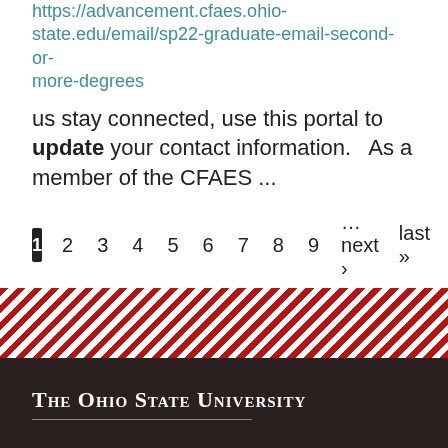https://advancement.cfaes.ohio-state.edu/email/sp22-graduate-email-second-or-more-degrees
us stay connected, use this portal to update your contact information.   As a member of the CFAES ...
1  2  3  4  5  6  7  8  9  …next ›  last »
Social Media
f  Facebook
The Ohio State University